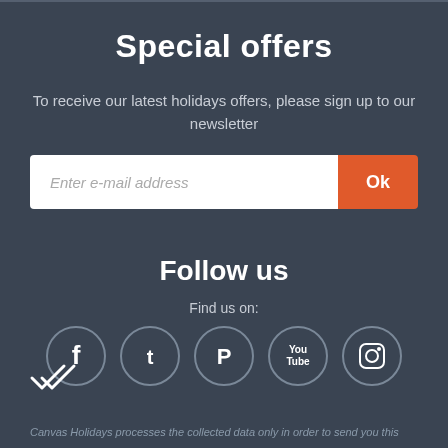Special offers
To receive our latest holidays offers, please sign up to our newsletter
Enter e-mail address
Follow us
Find us on:
[Figure (infographic): Five circular social media icons: Facebook, Twitter, Pinterest, YouTube, Instagram]
[Figure (illustration): Checkmark/tick icon with double lines]
Canvas Holidays processes the collected data only in order to send you this